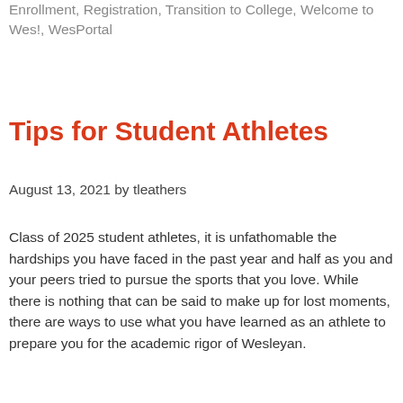Enrollment, Registration, Transition to College, Welcome to Wes!, WesPortal
Tips for Student Athletes
August 13, 2021 by tleathers
Class of 2025 student athletes, it is unfathomable the hardships you have faced in the past year and half as you and your peers tried to pursue the sports that you love. While there is nothing that can be said to make up for lost moments, there are ways to use what you have learned as an athlete to prepare you for the academic rigor of Wesleyan.